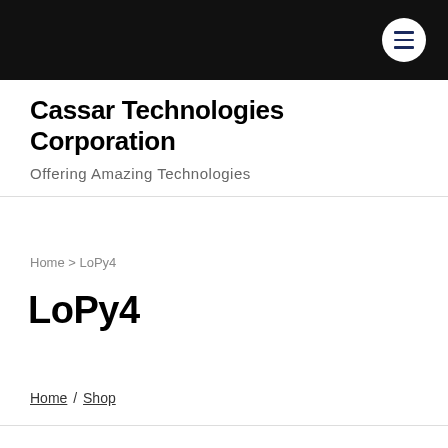Cassar Technologies Corporation — Offering Amazing Technologies
Home > LoPy4
LoPy4
Home / Shop